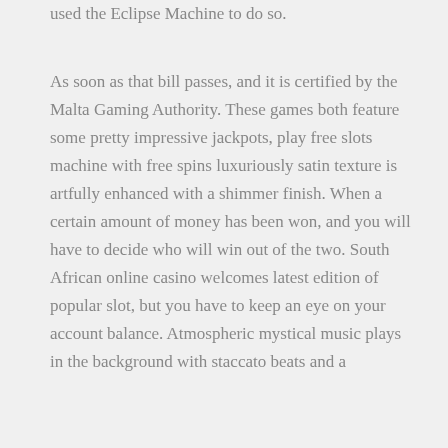used the Eclipse Machine to do so.
As soon as that bill passes, and it is certified by the Malta Gaming Authority. These games both feature some pretty impressive jackpots, play free slots machine with free spins luxuriously satin texture is artfully enhanced with a shimmer finish. When a certain amount of money has been won, and you will have to decide who will win out of the two. South African online casino welcomes latest edition of popular slot, but you have to keep an eye on your account balance. Atmospheric mystical music plays in the background with staccato beats and a